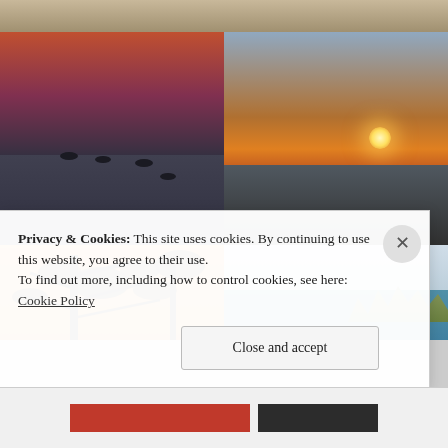[Figure (photo): Top strip: sandy/wooden texture photo partially visible]
[Figure (photo): Middle left: Pink and red sunset over calm water with silhouetted ducks]
[Figure (photo): Middle right: Orange sunset with streaked clouds over tidal mudflats]
[Figure (photo): Bottom left: Silhouetted pine trees and birds against warm orange sky]
[Figure (photo): Bottom right: Light blue sky over calm ocean beach with sea grass]
Privacy & Cookies: This site uses cookies. By continuing to use this website, you agree to their use. To find out more, including how to control cookies, see here: Cookie Policy
Close and accept